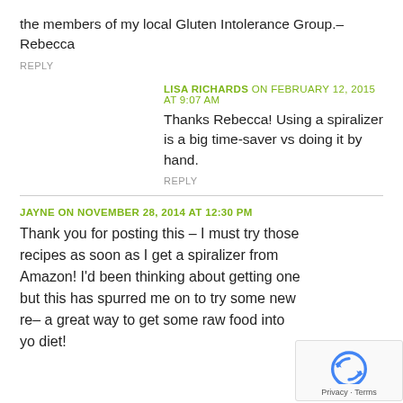the members of my local Gluten Intolerance Group.–Rebecca
REPLY
LISA RICHARDS ON FEBRUARY 12, 2015 AT 9:07 AM
Thanks Rebecca! Using a spiralizer is a big time-saver vs doing it by hand.
REPLY
JAYNE ON NOVEMBER 28, 2014 AT 12:30 PM
Thank you for posting this – I must try those recipes as soon as I get a spiralizer from Amazon! I'd been thinking about getting one but this has spurred me on to try some new re– a great way to get some raw food into yo diet!